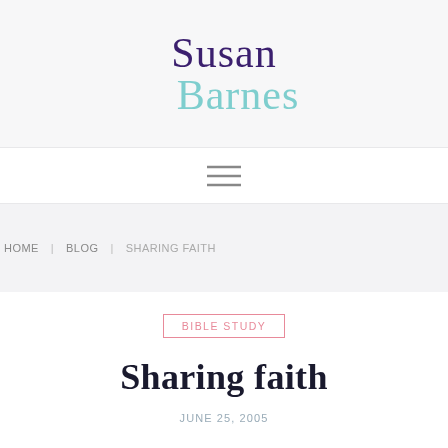Susan Barnes
[Figure (other): Hamburger menu icon (three horizontal lines)]
HOME | BLOG | SHARING FAITH
BIBLE STUDY
Sharing faith
JUNE 25, 2005